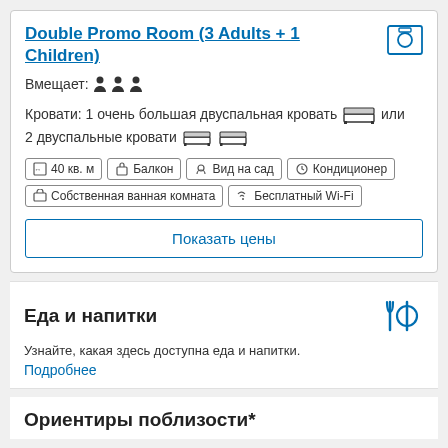Double Promo Room (3 Adults + 1 Children)
Вмещает: 👤 👤 👤
Кровати: 1 очень большая двуспальная кровать 🛏 или 2 двуспальные кровати 🛏 🛏
40 кв. м | Балкон | Вид на сад | Кондиционер | Собственная ванная комната | Бесплатный Wi-Fi
Показать цены
Еда и напитки
Узнайте, какая здесь доступна еда и напитки.
Подробнее
Ориентиры поблизости*